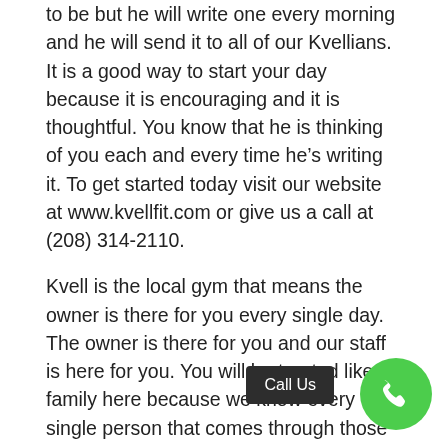to be but he will write one every morning and he will send it to all of our Kvellians. It is a good way to start your day because it is encouraging and it is thoughtful. You know that he is thinking of you each and every time he's writing it. To get started today visit our website at www.kvellfit.com or give us a call at (208) 314-2110.
Kvell is the local gym that means the owner is there for you every single day. The owner is there for you and our staff is here for you. You will be treated like family here because we know every single person that comes through those doors. We now as we know everyone and we know what they're about. We [Call Us] at their Lifestyles about me. We will get to know